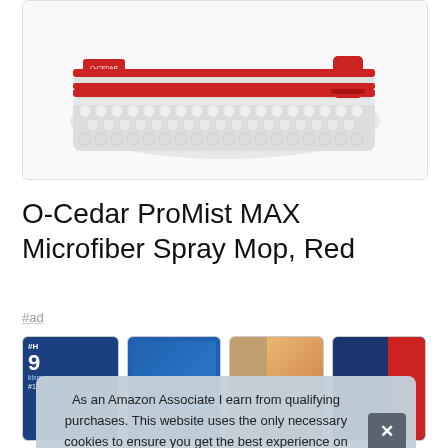[Figure (photo): Product photo of O-Cedar ProMist MAX Microfiber Spray Mop with red and white microfiber mop head, shown from an angle on white background with rounded rectangle border]
O-Cedar ProMist MAX Microfiber Spray Mop, Red
#ad
[Figure (photo): Row of four small product thumbnail images with blue, blue, orange/tan, and dark blue backgrounds, partially visible behind cookie banner]
As an Amazon Associate I earn from qualifying purchases. This website uses the only necessary cookies to ensure you get the best experience on our website. More information